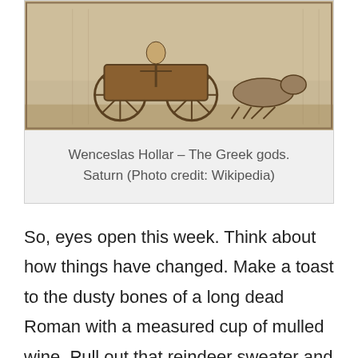[Figure (illustration): An old engraving by Wenceslas Hollar depicting Greek/Roman gods, showing Saturn in a chariot pulled by animals, with figures in classical style.]
Wenceslas Hollar – The Greek gods. Saturn (Photo credit: Wikipedia)
So, eyes open this week. Think about how things have changed. Make a toast to the dusty bones of a long dead Roman with a measured cup of mulled wine. Pull out that reindeer sweater and for once be grateful the weather necessitates head to toe clothing. Show some